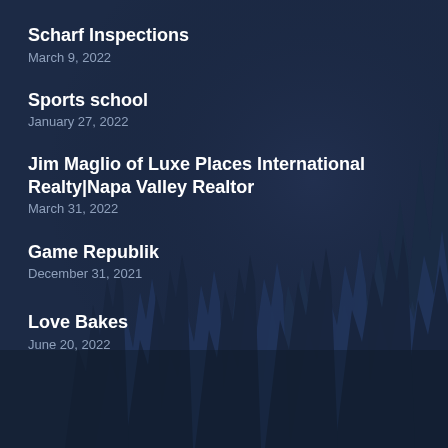[Figure (illustration): Dark navy blue background with silhouettes of tall pine/fir trees creating a forest skyline, misty and layered, giving a dark moody atmosphere]
Scharf Inspections
March 9, 2022
Sports school
January 27, 2022
Jim Maglio of Luxe Places International Realty|Napa Valley Realtor
March 31, 2022
Game Republik
December 31, 2021
Love Bakes
June 20, 2022